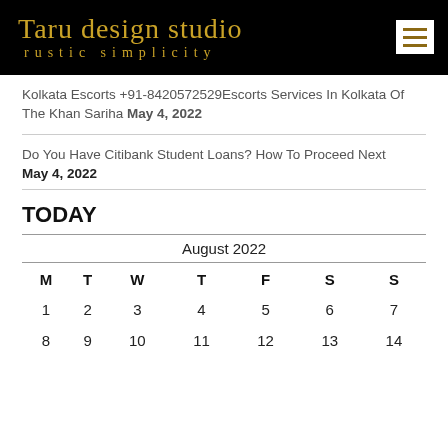Taru design studio
rustic simplicity
Kolkata Escorts +91-8420572529Escorts Services In Kolkata Of The Khan Sariha May 4, 2022
Do You Have Citibank Student Loans? How To Proceed Next
May 4, 2022
TODAY
| M | T | W | T | F | S | S |
| --- | --- | --- | --- | --- | --- | --- |
| 1 | 2 | 3 | 4 | 5 | 6 | 7 |
| 8 | 9 | 10 | 11 | 12 | 13 | 14 |